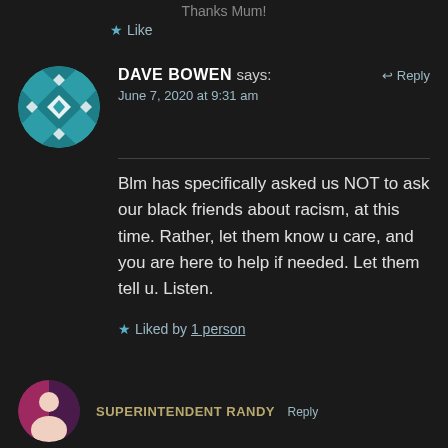Thanks Mum!
★ Like
DAVE BOWEN says:
June 7, 2020 at 9:31 am
↩ Reply
Blm has specifically asked us NOT to ask our black friends about racism, at this time. Rather, let them know u care, and you are here to help if needed. Let them tell u. Listen.
★ Liked by 1 person
SUPERINTENDENT RANDY
Reply